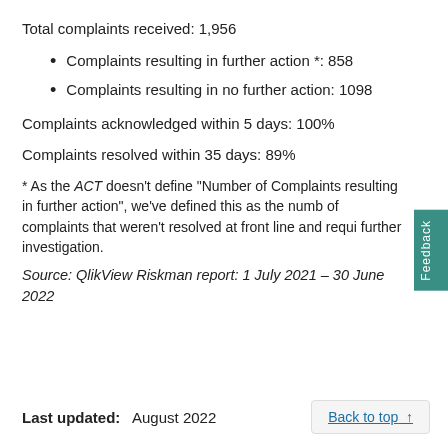Total complaints received: 1,956
Complaints resulting in further action *: 858
Complaints resulting in no further action: 1098
Complaints acknowledged within 5 days: 100%
Complaints resolved within 35 days: 89%
* As the ACT doesn't define "Number of Complaints resulting in further action", we've defined this as the number of complaints that weren't resolved at front line and required further investigation.
Source: QlikView Riskman report: 1 July 2021 – 30 June 2022
Last updated: August 2022
Back to top ↑